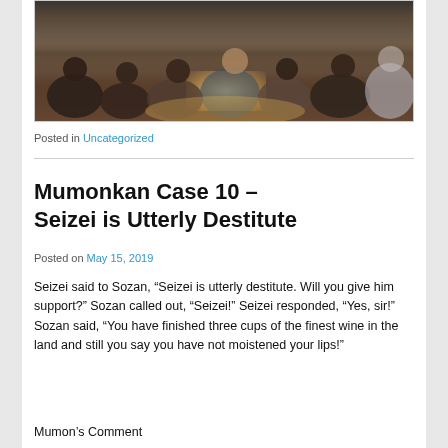[Figure (photo): Group of people sitting/lying on a wooden floor, overhead view, dimly lit room with warm floor lighting]
Posted in Uncategorized
Mumonkan Case 10 – Seizei is Utterly Destitute
Posted on May 15, 2019
Seizei said to Sozan, “Seizei is utterly destitute. Will you give him support?” Sozan called out, “Seizei!” Seizei responded, “Yes, sir!” Sozan said, “You have finished three cups of the finest wine in the land and still you say you have not moistened your lips!”
Mumon’s Comment